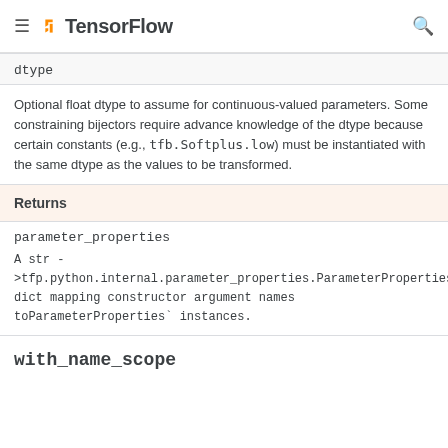TensorFlow
dtype
Optional float dtype to assume for continuous-valued parameters. Some constraining bijectors require advance knowledge of the dtype because certain constants (e.g., tfb.Softplus.low) must be instantiated with the same dtype as the values to be transformed.
Returns
parameter_properties
A str - >tfp.python.internal.parameter_properties.ParameterProperties dict mapping constructor argument names toParameterProperties` instances.
with_name_scope